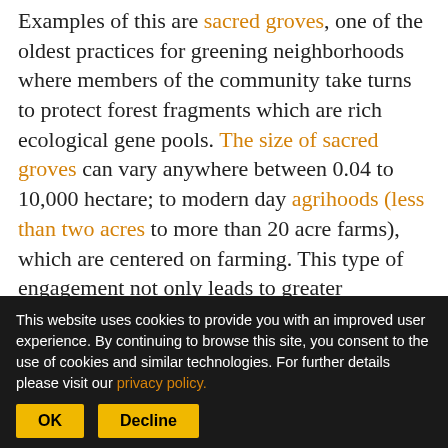Examples of this are sacred groves, one of the oldest practices for greening neighborhoods where members of the community take turns to protect forest fragments which are rich ecological gene pools. The size of sacred groves can vary anywhere between 0.04 to 10,000 hectare; to modern day agrihoods (less than two acres to more than 20 acre farms), which are centered on farming. This type of engagement not only leads to greater environmental consciousness but can also be a step towards food security and wellbeing.
[Figure (other): Partially visible image or diagram below the main text block]
This website uses cookies to provide you with an improved user experience. By continuing to browse this site, you consent to the use of cookies and similar technologies. For further details please visit our privacy policy.